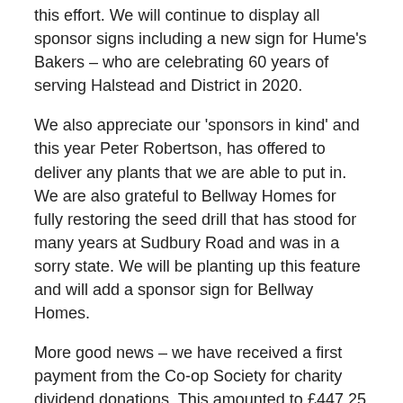this effort. We will continue to display all sponsor signs including a new sign for Hume's Bakers – who are celebrating 60 years of serving Halstead and District in 2020.
We also appreciate our 'sponsors in kind' and this year Peter Robertson, has offered to deliver any plants that we are able to put in. We are also grateful to Bellway Homes for fully restoring the seed drill that has stood for many years at Sudbury Road and was in a sorry state. We will be planting up this feature and will add a sponsor sign for Bellway Homes.
More good news – we have received a first payment from the Co-op Society for charity dividend donations. This amounted to £447.25 and was paid on 9th April.
We have had some expenditure this year on renewal of containers; in the light of last summer's hot, dry weeks